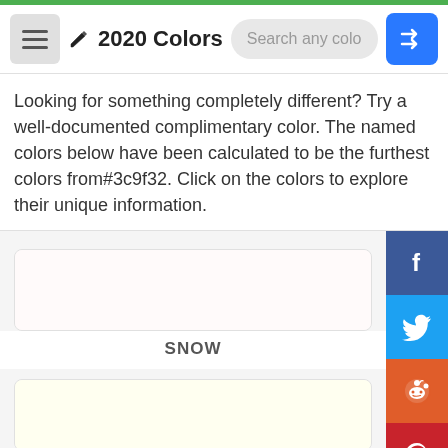2020 Colors
Looking for something completely different? Try a well-documented complimentary color. The named colors below have been calculated to be the furthest colors from#3c9f32. Click on the colors to explore their unique information.
[Figure (screenshot): Color card showing SNOW color swatch (white/near-white rectangle) with label SNOW below]
[Figure (screenshot): Color card showing TOOTH color swatch (white/near-white rectangle) with label TOOTH partially visible below]